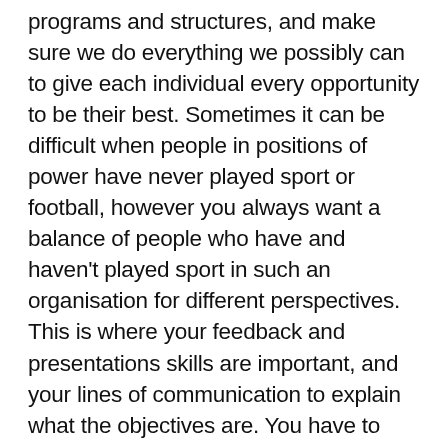programs and structures, and make sure we do everything we possibly can to give each individual every opportunity to be their best. Sometimes it can be difficult when people in positions of power have never played sport or football, however you always want a balance of people who have and haven't played sport in such an organisation for different perspectives. This is where your feedback and presentations skills are important, and your lines of communication to explain what the objectives are. You have to have clear objectives and a vision of how you're going to achieve them, and once you have that, you need to bring other people along for the ride. This includes people who are higher up in the organisation, as well as players, parents, managers and other staff. That way, all decisions can be based around those key objectives and vision.